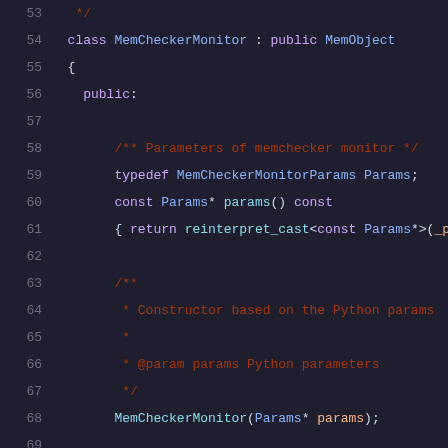[Figure (screenshot): C++ source code showing MemCheckerMonitor class definition, lines 53-74, with syntax highlighting on dark background. Shows class declaration inheriting from MemObject, public section with typedef, const params() method, constructor, destructor, and getPort method.]